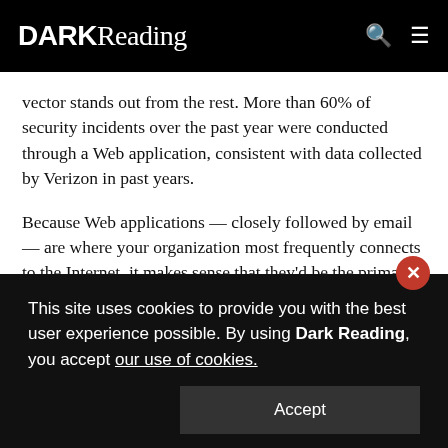DARK Reading
vector stands out from the rest. More than 60% of security incidents over the past year were conducted through a Web application, consistent with data collected by Verizon in past years.
Because Web applications — closely followed by email — are where your organization most frequently connects to the Internet, it makes sense that they'd be the primary vectors for threat actors trying to breach your environment. While a Web application may fall
This site uses cookies to provide you with the best user experience possible. By using Dark Reading, you accept our use of cookies.